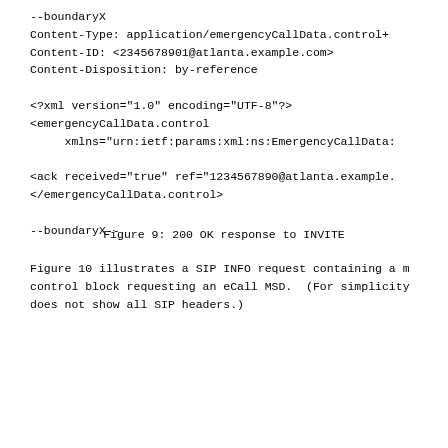--boundaryX
Content-Type: application/emergencyCallData.control+
Content-ID: <2345678901@atlanta.example.com>
Content-Disposition: by-reference

<?xml version="1.0" encoding="UTF-8"?>
<emergencyCallData.control
     xmlns="urn:ietf:params:xml:ns:EmergencyCallData:

<ack received="true" ref="1234567890@atlanta.example.
</emergencyCallData.control>

--boundaryX--
Figure 9: 200 OK response to INVITE
Figure 10 illustrates a SIP INFO request containing a m control block requesting an eCall MSD.  (For simplicity does not show all SIP headers.)